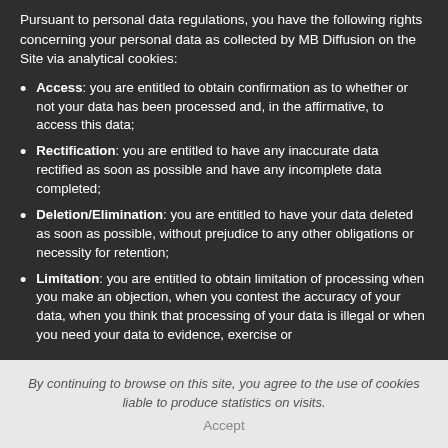Pursuant to personal data regulations, you have the following rights concerning your personal data as collected by MB Diffusion on the Site via analytical cookies:
Access: you are entitled to obtain confirmation as to whether or not your data has been processed and, in the affirmative, to access this data;
Rectification: you are entitled to have any inaccurate data rectified as soon as possible and have any incomplete data completed;
Deletion/Elimination: you are entitled to have your data deleted as soon as possible, without prejudice to any other obligations or necessity for retention;
Limitation: you are entitled to obtain limitation of processing when you make an objection, when you contest the accuracy of your data, when you think that processing of your data is illegal or when you need your data to evidence, exercise or defend your rights in court.
By continuing to browse on this site, you agree to the use of cookies liable to produce statistics on visits.
Accept